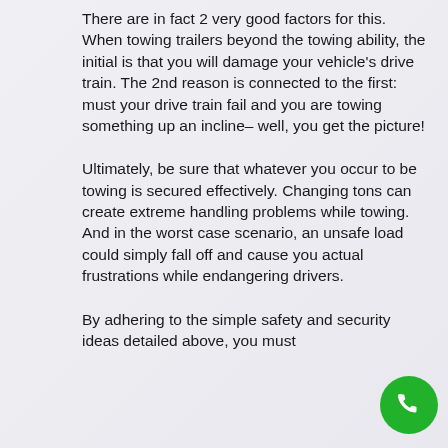There are in fact 2 very good factors for this. When towing trailers beyond the towing ability, the initial is that you will damage your vehicle's drive train. The 2nd reason is connected to the first: must your drive train fail and you are towing something up an incline– well, you get the picture!
Ultimately, be sure that whatever you occur to be towing is secured effectively. Changing tons can create extreme handling problems while towing. And in the worst case scenario, an unsafe load could simply fall off and cause you actual frustrations while endangering drivers.
By adhering to the simple safety and security ideas detailed above, you must
[Figure (other): Green circular phone call button icon in bottom right corner]